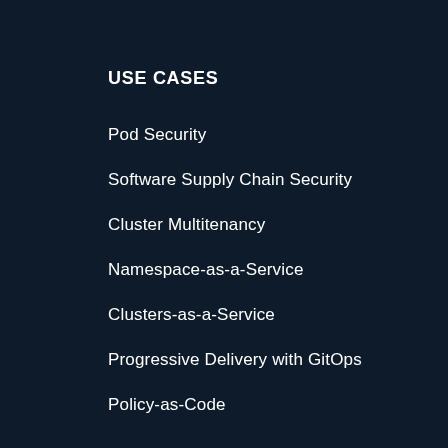USE CASES
Pod Security
Software Supply Chain Security
Cluster Multitenancy
Namespace-as-a-Service
Clusters-as-a-Service
Progressive Delivery with GitOps
Policy-as-Code
RESOURCES